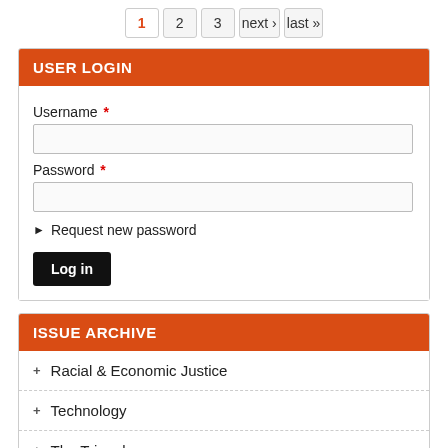1 2 3 next › last »
USER LOGIN
Username *
Password *
▶ Request new password
Log in
ISSUE ARCHIVE
+ Racial & Economic Justice
+ Technology
+ The Triangle
+ Public Health & Safety